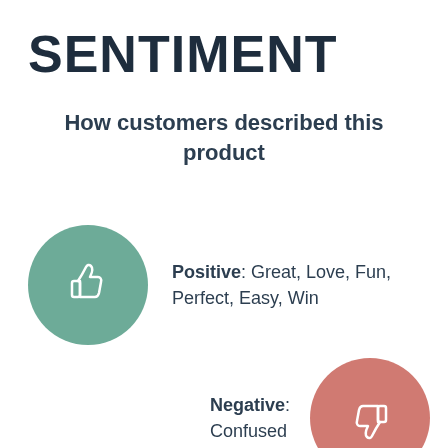SENTIMENT
How customers described this product
[Figure (infographic): Green circle with white thumbs-up icon representing positive sentiment]
Positive: Great, Love, Fun, Perfect, Easy, Win
Negative: Confused
[Figure (infographic): Salmon/red circle with white thumbs-down icon representing negative sentiment]